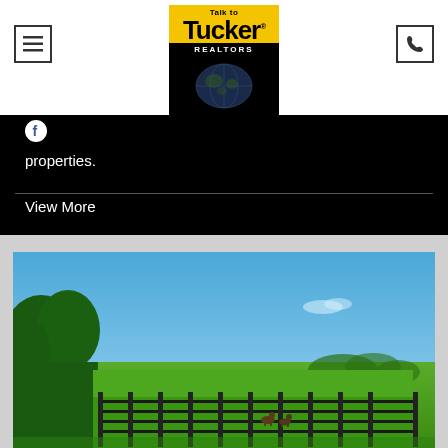[Figure (logo): Talk to Tucker Realtors logo with yellow text on black background with globe icon]
[Figure (illustration): Hamburger menu button icon (three horizontal lines) in a square border]
[Figure (illustration): Phone icon in a square border]
[Figure (illustration): Facebook circle icon in white on black background]
properties.
View More
[Figure (photo): Rural farm scene with green fields, wooden fence, horses grazing, trees, and blue sky]